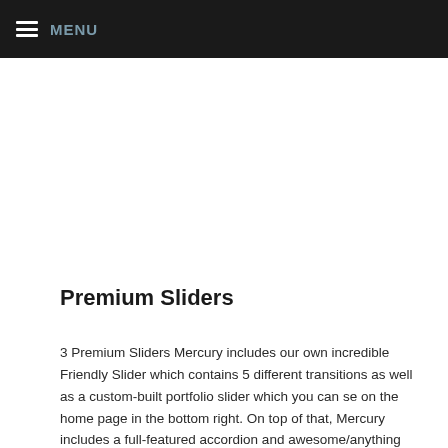MENU
Premium Sliders
3 Premium Sliders Mercury includes our own incredible Friendly Slider which contains 5 different transitions as well as a custom-built portfolio slider which you can se on the home page in the bottom right. On top of that, Mercury includes a full-featured accordion and awesome/anything slider which allows you to include